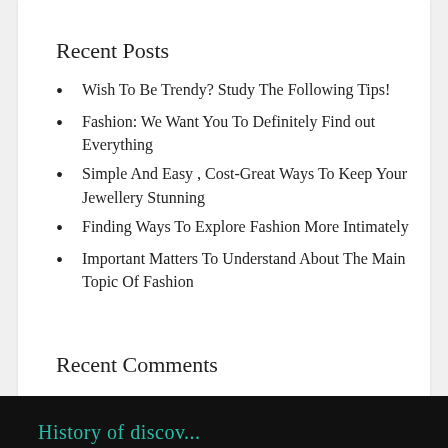[Figure (other): Blue decorative bar at top of white card]
Recent Posts
Wish To Be Trendy? Study The Following Tips!
Fashion: We Want You To Definitely Find out Everything
Simple And Easy , Cost-Great Ways To Keep Your Jewellery Stunning
Finding Ways To Explore Fashion More Intimately
Important Matters To Understand About The Main Topic Of Fashion
Recent Comments
History of discov...